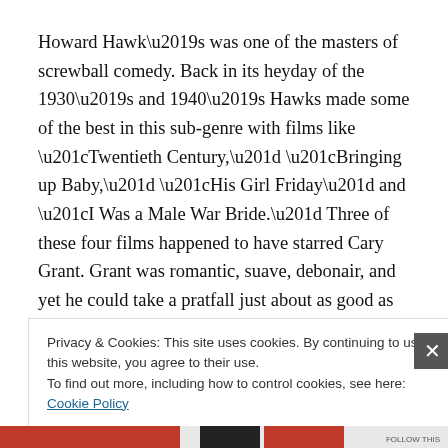Howard Hawk’s was one of the masters of screwball comedy. Back in its heyday of the 1930’s and 1940’s Hawks made some of the best in this sub-genre with films like “Twentieth Century,” “Bringing up Baby,” “His Girl Friday” and “I Was a Male War Bride.” Three of these four films happened to have starred Cary Grant. Grant was romantic, suave, debonair, and yet he could take a pratfall just about as good as Chaplin or Keaton. He also had a way with a line of dialogue that made even average lines
Privacy & Cookies: This site uses cookies. By continuing to use this website, you agree to their use.
To find out more, including how to control cookies, see here: Cookie Policy
Close and accept